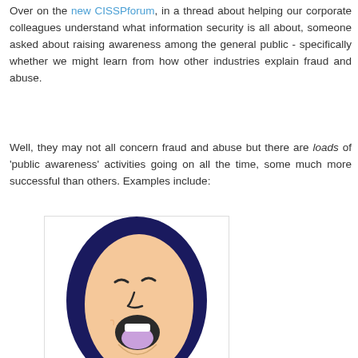Over on the new CISSPforum, in a thread about helping our corporate colleagues understand what information security is all about, someone asked about raising awareness among the general public - specifically whether we might learn from how other industries explain fraud and abuse.
Well, they may not all concern fraud and abuse but there are loads of 'public awareness' activities going on all the time, some much more successful than others. Examples include:
[Figure (illustration): Cartoon illustration of a yawning or shouting person with dark hair, peach skin, open mouth showing a purple tongue, viewed from a slightly tilted angle]